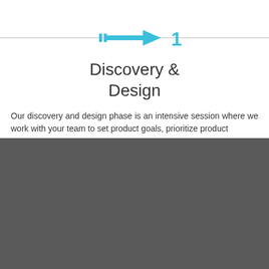[Figure (infographic): A horizontal progress step indicator with a blue arrow pointing right and the number 1 in blue, on a gray horizontal line.]
Discovery & Design
Our discovery and design phase is an intensive session where we work with your team to set product goals, prioritize product
We use cookies and other identifiers to help us to give you the best experience of our website. For more information, please see our Cookie Policy and Privacy Policy.
You can learn more about what cookies we are using or switch them off in settings.
If you continue to use our site, you agree to our cookies policy.